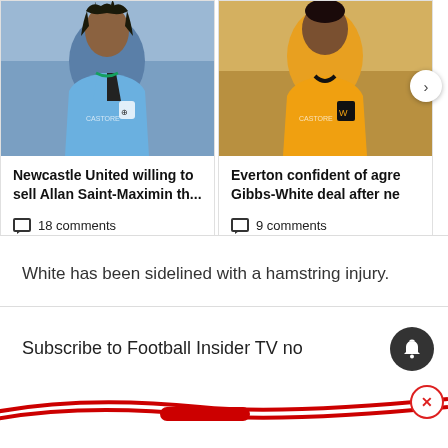[Figure (photo): Two article cards side by side: left shows a Newcastle United player in blue training kit, right shows a Wolves player in yellow/orange kit]
Newcastle United willing to sell Allan Saint-Maximin th...
18 comments
Everton confident of agre Gibbs-White deal after ne
9 comments
White has been sidelined with a hamstring injury.
Subscribe to Football Insider TV no